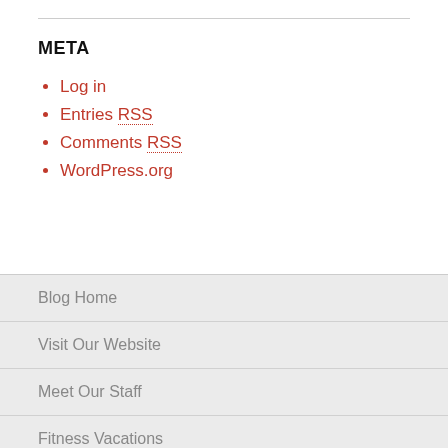META
Log in
Entries RSS
Comments RSS
WordPress.org
Blog Home
Visit Our Website
Meet Our Staff
Fitness Vacations